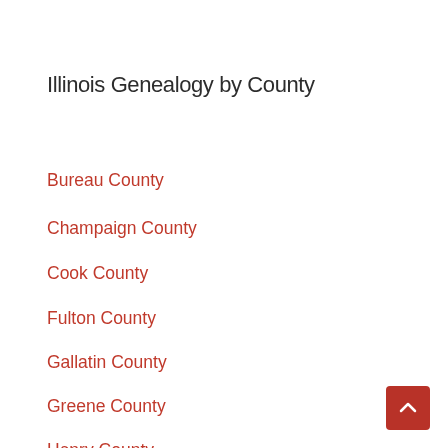Illinois Genealogy by County
Bureau County
Champaign County
Cook County
Fulton County
Gallatin County
Greene County
Henry County
Knox County (partial)